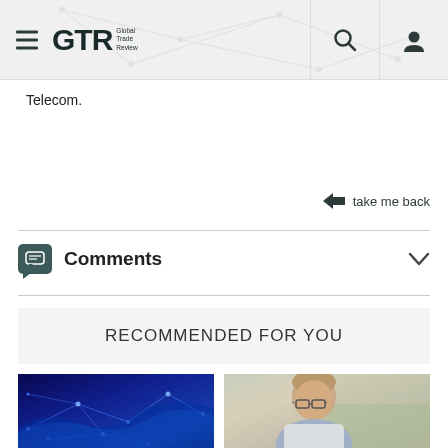GTR Global Trade Review
Telecom.
take me back
Comments
RECOMMENDED FOR YOU
[Figure (photo): Blue network/tech abstract image with connected dots and lines]
[Figure (photo): Portrait photo of a middle-aged man with glasses]